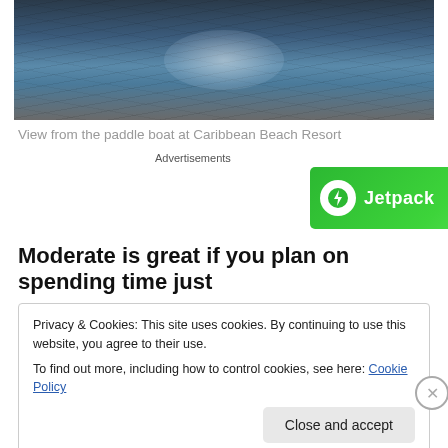[Figure (photo): Water surface view from a paddle boat showing rippling water with light reflection at Caribbean Beach Resort]
View from the paddle boat at Caribbean Beach Resort
Advertisements
[Figure (other): Jetpack advertisement banner with green background showing Jetpack logo and 'Back up your site' button]
Moderate is great if you plan on spending time just
Privacy & Cookies: This site uses cookies. By continuing to use this website, you agree to their use.
To find out more, including how to control cookies, see here: Cookie Policy
Close and accept